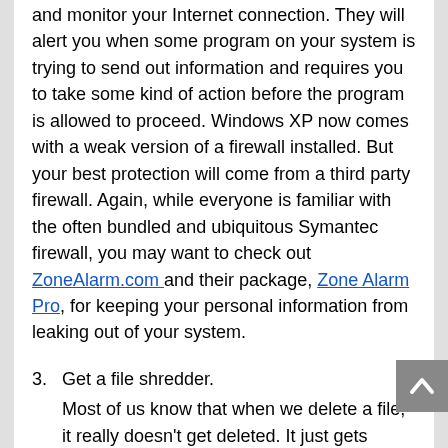and monitor your Internet connection. They will alert you when some program on your system is trying to send out information and requires you to take some kind of action before the program is allowed to proceed. Windows XP now comes with a weak version of a firewall installed. But your best protection will come from a third party firewall. Again, while everyone is familiar with the often bundled and ubiquitous Symantec firewall, you may want to check out ZoneAlarm.com and their package, Zone Alarm Pro, for keeping your personal information from leaking out of your system.
3. Get a file shredder.
Most of us know that when we delete a file, it really doesn't get deleted. It just gets moved to the recycle bin. That makes it easy to recover from what I like to call “fat finger mistakes”. Those are the ones that make us say “oops” right after we perform the action. This is great for recovering from those moments where our fingers moved faster than our minds could make a